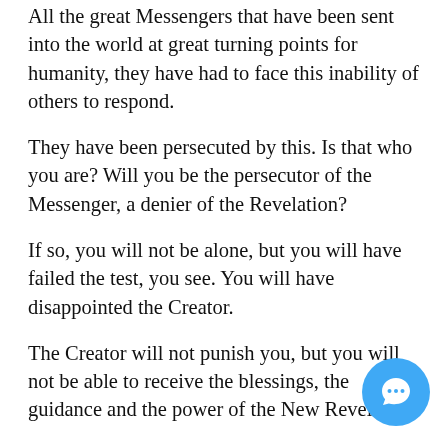All the great Messengers that have been sent into the world at great turning points for humanity, they have had to face this inability of others to respond.
They have been persecuted by this. Is that who you are? Will you be the persecutor of the Messenger, a denier of the Revelation?
If so, you will not be alone, but you will have failed the test, you see. You will have disappointed the Creator.
The Creator will not punish you, but you will not be able to receive the blessings, the guidance and the power of the New Revelation.
The great empowerment will be given to others, and you will not be able to receive. That would be a tremendous tragedy for your life.
And it would also be a tragedy for the world, for enough people must respond to the Revelation for it